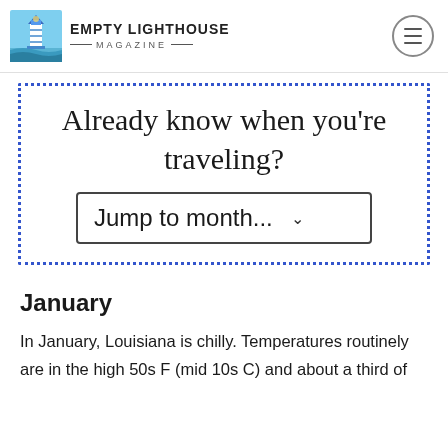[Figure (logo): Empty Lighthouse Magazine logo with lighthouse icon and hamburger menu button]
Already know when you're traveling?
Jump to month...
January
In January, Louisiana is chilly. Temperatures routinely are in the high 50s F (mid 10s C) and about a third of